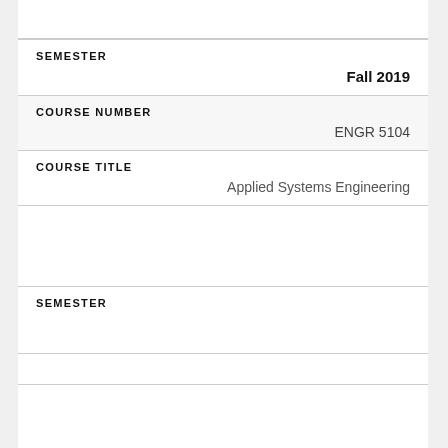SEMESTER
Fall 2019
COURSE NUMBER
ENGR 5104
COURSE TITLE
Applied Systems Engineering
SEMESTER